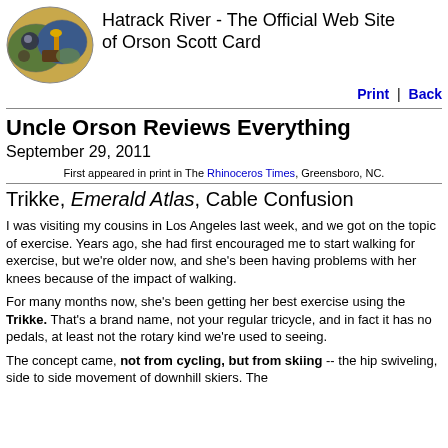Hatrack River - The Official Web Site of Orson Scott Card
Uncle Orson Reviews Everything
September 29, 2011
First appeared in print in The Rhinoceros Times, Greensboro, NC.
Trikke, Emerald Atlas, Cable Confusion
I was visiting my cousins in Los Angeles last week, and we got on the topic of exercise. Years ago, she had first encouraged me to start walking for exercise, but we're older now, and she's been having problems with her knees because of the impact of walking.
For many months now, she's been getting her best exercise using the Trikke. That's a brand name, not your regular tricycle, and in fact it has no pedals, at least not the rotary kind we're used to seeing.
The concept came, not from cycling, but from skiing -- the hip swiveling, side to side movement of downhill skiers. The